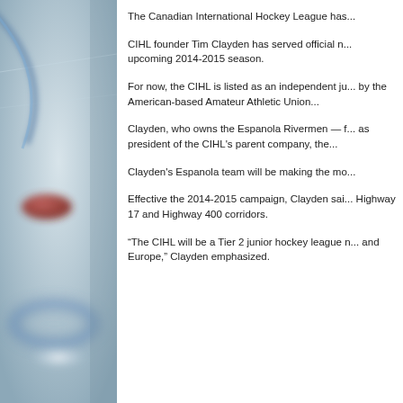[Figure (photo): A blurred close-up photograph of ice hockey equipment or ice surface with a red puck/disc and blue circular lines visible, suggesting a hockey rink.]
The Canadian International Hockey League has...
CIHL founder Tim Clayden has served official n... upcoming 2014-2015 season.
For now, the CIHL is listed as an independent ju... by the American-based Amateur Athletic Union...
Clayden, who owns the Espanola Rivermen — f... as president of the CIHL's parent company, the...
Clayden's Espanola team will be making the mo...
Effective the 2014-2015 campaign, Clayden sai... Highway 17 and Highway 400 corridors.
“The CIHL will be a Tier 2 junior hockey league n... and Europe,” Clayden emphasized.